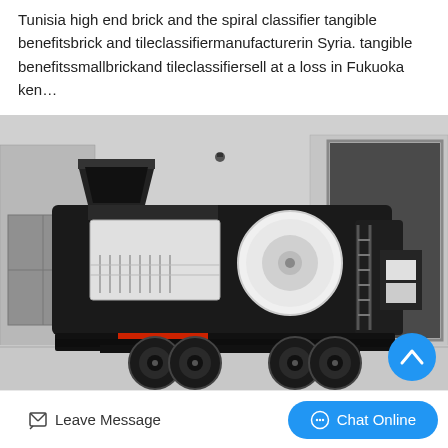Tunisia high end brick and tile spiral classifier tangible benefitsbrick and tileclassifiermanufacturerin Syria. tangible benefitssmallbrickand tileclassifiersell at a loss in Fukuoka ken…
[Figure (photo): A large mobile industrial crusher/classifier machine mounted on a wheeled trailer, colored black and white, parked outside an industrial warehouse facility. The machine has a large funnel/hopper on the left, a cylindrical drum in the middle-right area, and is mounted on dual axle wheels.]
Leave Message
Chat Online